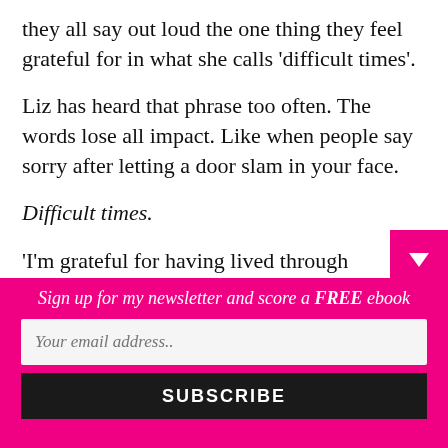they all say out loud the one thing they feel grateful for in what she calls ‘difficult times’.
Liz has heard that phrase too often. The words lose all impact. Like when people say sorry after letting a door slam in your face.
Difficult times.
‘I’m grateful for having lived through Corona,’ she says and looks around. ‘Now I’m immu...
Sign up for my newsletter and score a FREE ebook
Your email address..
SUBSCRIBE